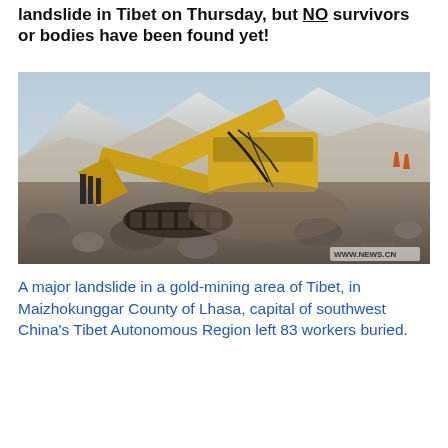landslide in Tibet on Thursday, but NO survivors or bodies have been found yet!
[Figure (photo): Photograph of a destroyed yellow excavator/bulldozer crushed and buried under rocks and debris from a landslide in Tibet. Snow-capped mountains visible in background. Watermark: WWW.NEWS.CN]
A major landslide in a gold-mining area of Tibet, in Maizhokunggar County of Lhasa, capital of southwest China's Tibet Autonomous Region left 83 workers buried.